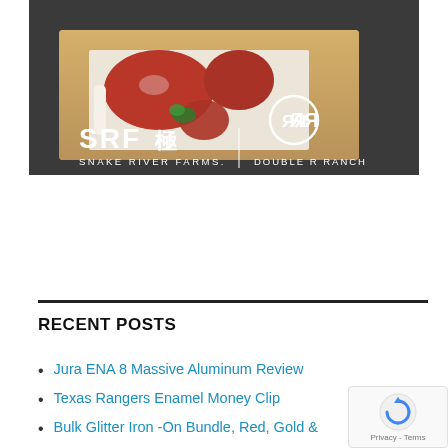[Figure (photo): Advertisement image showing raw premium beef cuts on a wooden cutting board with dark background. White text reads 'SRF 極 SNAKE RIVER FARMS.' on the left and a circular logo with 'RR' symbol above 'DOUBLE R RANCH' on the right.]
RECENT POSTS
Jura ENA 8 Massive Aluminum Review
Texas Rangers Enamel Money Clip
Bulk Glitter Iron -On Bundle, Red, Gold &